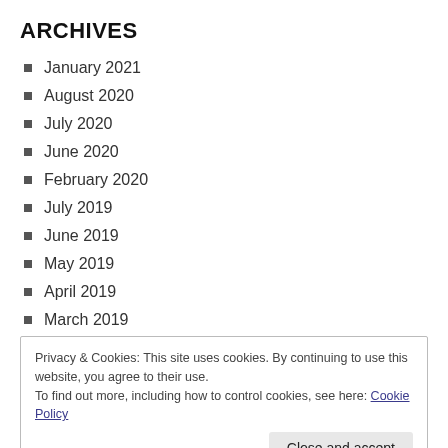ARCHIVES
January 2021
August 2020
July 2020
June 2020
February 2020
July 2019
June 2019
May 2019
April 2019
March 2019
Privacy & Cookies: This site uses cookies. By continuing to use this website, you agree to their use.
To find out more, including how to control cookies, see here: Cookie Policy
Close and accept
August 2018